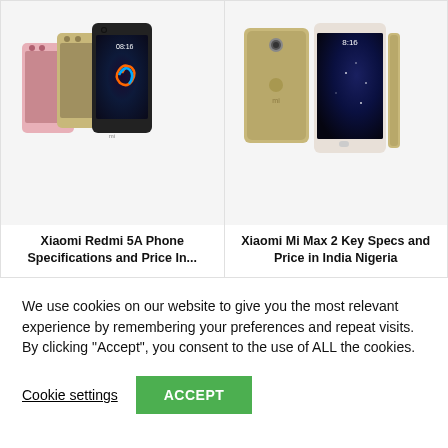[Figure (photo): Xiaomi Redmi 5A smartphones in three colors (pink, gold, black) shown side by side]
Xiaomi Redmi 5A Phone Specifications and Price In...
[Figure (photo): Xiaomi Mi Max 2 smartphone shown from front, back, and side views in gold/white color]
Xiaomi Mi Max 2 Key Specs and Price in India Nigeria
We use cookies on our website to give you the most relevant experience by remembering your preferences and repeat visits. By clicking “Accept”, you consent to the use of ALL the cookies.
Cookie settings
ACCEPT